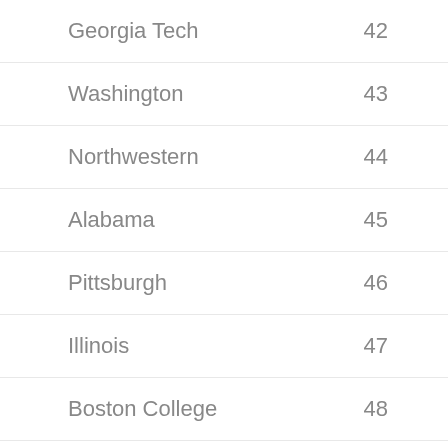| School | Rank |
| --- | --- |
| Georgia Tech | 42 |
| Washington | 43 |
| Northwestern | 44 |
| Alabama | 45 |
| Pittsburgh | 46 |
| Illinois | 47 |
| Boston College | 48 |
| North Carolina | 49 |
| Wake Forest | 50 |
| Clemson | 51 |
| South Florida | 52 |